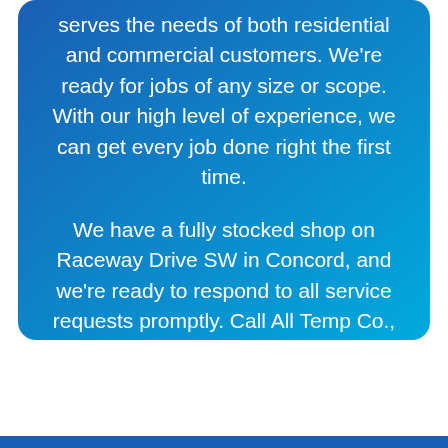serves the needs of both residential and commercial customers. We're ready for jobs of any size or scope. With our high level of experience, we can get every job done right the first time.
We have a fully stocked shop on Raceway Drive SW in Concord, and we're ready to respond to all service requests promptly. Call All Temp Co., Inc. today to learn more about our work with insulation in Mooresville.